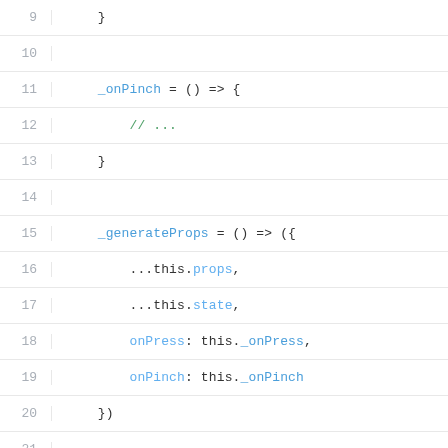[Figure (screenshot): Code snippet showing JavaScript class methods: _onPinch arrow function, _generateProps arrow function returning an object spread with props and state, and a render method with const props and JSX return. Lines 9-27 visible.]